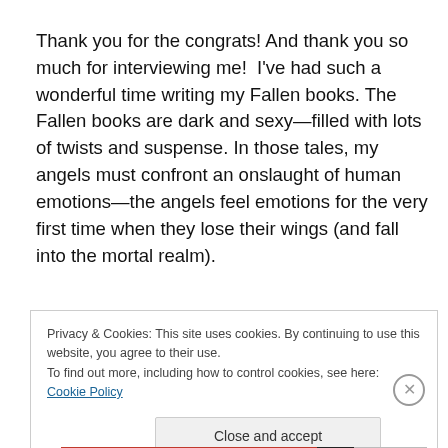Thank you for the congrats! And thank you so much for interviewing me!  I've had such a wonderful time writing my Fallen books. The Fallen books are dark and sexy—filled with lots of twists and suspense. In those tales, my angels must confront an onslaught of human emotions—the angels feel emotions for the very first time when they lose their wings (and fall into the mortal realm).
Privacy & Cookies: This site uses cookies. By continuing to use this website, you agree to their use.
To find out more, including how to control cookies, see here: Cookie Policy